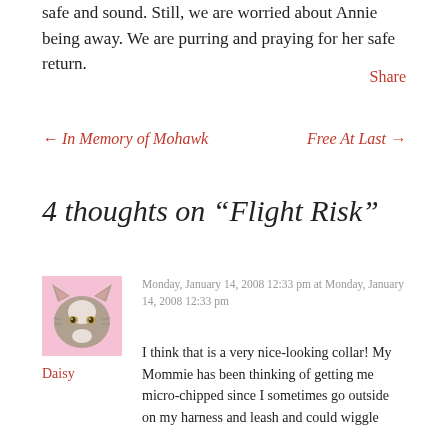safe and sound. Still, we are worried about Annie being away. We are purring and praying for her safe return.
Share
← In Memory of Mohawk
Free At Last →
4 thoughts on “Flight Risk”
Monday, January 14, 2008 12:33 pm at Monday, January 14, 2008 12:33 pm
Daisy
I think that is a very nice-looking collar! My Mommie has been thinking of getting me micro-chipped since I sometimes go outside on my harness and leash and could wiggle